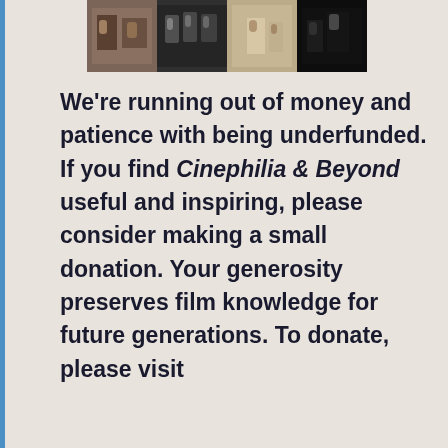[Figure (photo): A horizontal strip of four black-and-white and color film stills showing groups of people in various scenes.]
We're running out of money and patience with being underfunded. If you find Cinephilia & Beyond useful and inspiring, please consider making a small donation. Your generosity preserves film knowledge for future generations. To donate, please visit